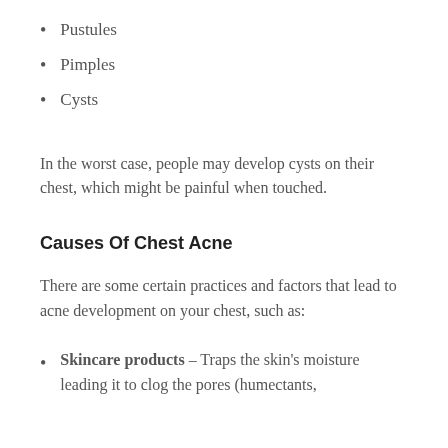Pustules
Pimples
Cysts
In the worst case, people may develop cysts on their chest, which might be painful when touched.
Causes Of Chest Acne
There are some certain practices and factors that lead to acne development on your chest, such as:
Skincare products – Traps the skin's moisture leading it to clog the pores (humectants,